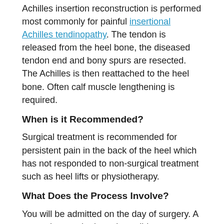Achilles insertion reconstruction is performed most commonly for painful insertional Achilles tendinopathy. The tendon is released from the heel bone, the diseased tendon end and bony spurs are resected. The Achilles is then reattached to the heel bone. Often calf muscle lengthening is required.
When is it Recommended?
Surgical treatment is recommended for persistent pain in the back of the heel which has not responded to non-surgical treatment such as heel lifts or physiotherapy.
What Does the Process Involve?
You will be admitted on the day of surgery. A general anaesthetic and possibly nerve blocks are usually required. Following surgery you will be in a cast and will stay in hospital for a minimum of 2 nights with your leg elevated. Following this our physiotherapist will help you to mobilise without putting weight on the foot and once you can do this safely you may go home.